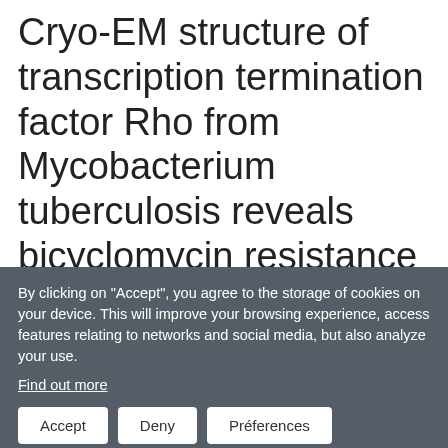Cryo-EM structure of transcription termination factor Rho from Mycobacterium tuberculosis reveals bicyclomycin resistance mechanism
By clicking on "Accept", you agree to the storage of cookies on your device. This will improve your browsing experience, access features relating to networks and social media, but also analyze your use.
Find out more
Accept
Deny
Préferences